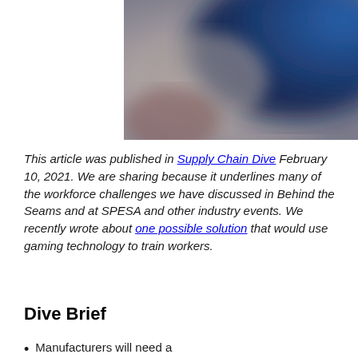[Figure (photo): Blurred photo background with blue and grey tones, partially visible at top of page]
This article was published in Supply Chain Dive February 10, 2021. We are sharing because it underlines many of the workforce challenges we have discussed in Behind the Seams and at SPESA and other industry events. We recently wrote about one possible solution that would use gaming technology to train workers.
Dive Brief
Manufacturers will need a